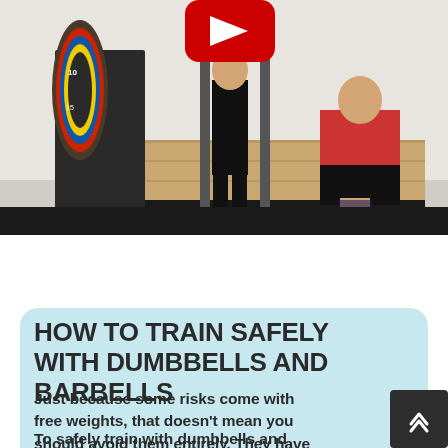[Figure (photo): Two people in a gym with a squat rack and weight plates. One person stands in all black, the other in a red shirt and black shorts kneeling. A red YouTube play button icon is visible at the top. A black bar appears at the bottom of the image.]
HOW TO TRAIN SAFELY WITH DUMBBELLS AND BARBELLS
Just because some risks come with free weights, that doesn't mean you should avoid them entirely. They have their place, but like everything else, moderation is key.
To safely train with dumbbells and